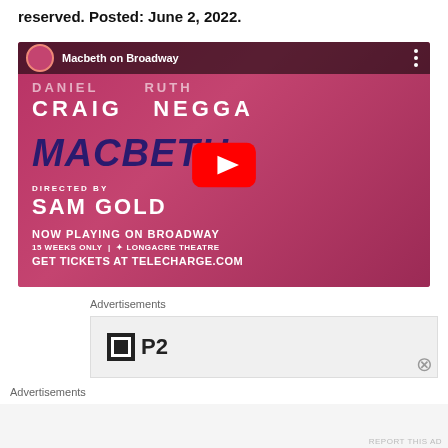reserved. Posted: June 2, 2022.
[Figure (screenshot): YouTube video thumbnail for Macbeth on Broadway featuring Daniel Craig and Ruth Negga, directed by Sam Gold. Pink background with theatrical poster text and a YouTube play button overlay. Text reads: CRAIG NEGGA / MACBETH / DIRECTED BY SAM GOLD / NOW PLAYING ON BROADWAY / 15 WEEKS ONLY | LONGACRE THEATRE / GET TICKETS AT TELECHARGE.COM]
Advertisements
[Figure (logo): P2 logo — black square with white border icon and bold P2 text]
Advertisements